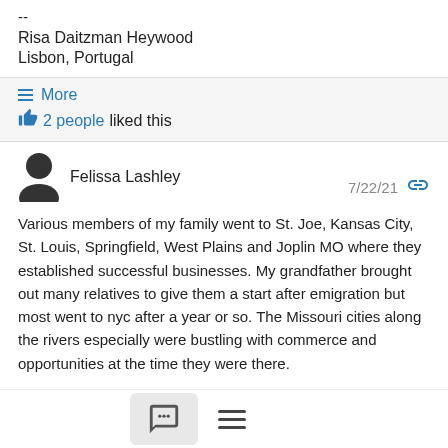--
Risa Daitzman Heywood
Lisbon, Portugal
≡ More
👍 2 people liked this
Felissa Lashley  7/22/21
Various members of my family went to St. Joe, Kansas City, St. Louis, Springfield, West Plains and Joplin MO where they established successful businesses. My grandfather brought out many relatives to give them a start after emigration but most went to nyc after a year or so. The Missouri cities along the rivers especially were bustling with commerce and opportunities at the time they were there.

Another resource is the Missouri Historical Society at library@....